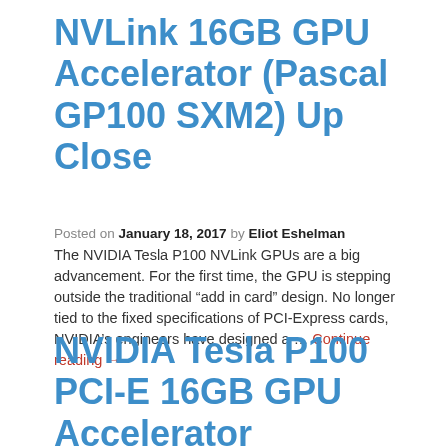NVLink 16GB GPU Accelerator (Pascal GP100 SXM2) Up Close
Posted on January 18, 2017 by Eliot Eshelman
The NVIDIA Tesla P100 NVLink GPUs are a big advancement. For the first time, the GPU is stepping outside the traditional “add in card” design. No longer tied to the fixed specifications of PCI-Express cards, NVIDIA’s engineers have designed a … Continue reading →
NVIDIA Tesla P100 PCI-E 16GB GPU Accelerator